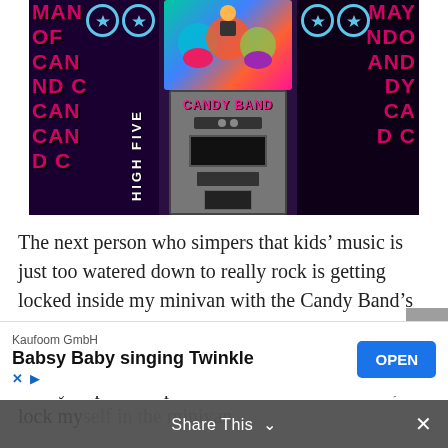[Figure (photo): Photo of arcade claw machines including 'High Five' and 'Candy Band' machines with colorful plush toys and pink neon-style lettering on black background]
The next person who simpers that kids' music is just too watered down to really rock is getting locked inside my minivan with the Candy Band's new CD — cranked up to 11 until they cry uncle. Because there is nothing wishy wa... whose ability to perform punk for kids is so much fun, I'd lock myself in the minivan
[Figure (screenshot): Mobile advertisement overlay: Kaufoom GmbH — Babsy Baby singing Twinkle — with OPEN button]
Share This ∨  ×